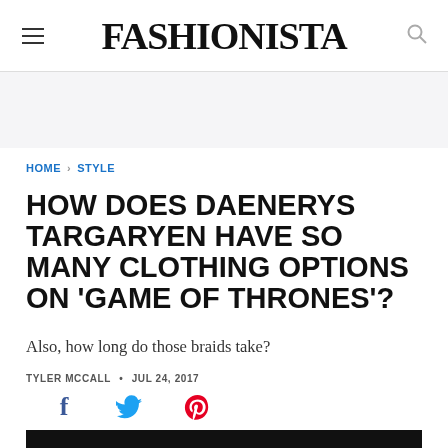FASHIONISTA
HOME › STYLE
HOW DOES DAENERYS TARGARYEN HAVE SO MANY CLOTHING OPTIONS ON 'GAME OF THRONES'?
Also, how long do those braids take?
TYLER MCCALL • JUL 24, 2017
[Figure (other): Social share icons: Facebook, Twitter, Pinterest]
[Figure (photo): Bottom cropped photo, dark background, partially visible figure]